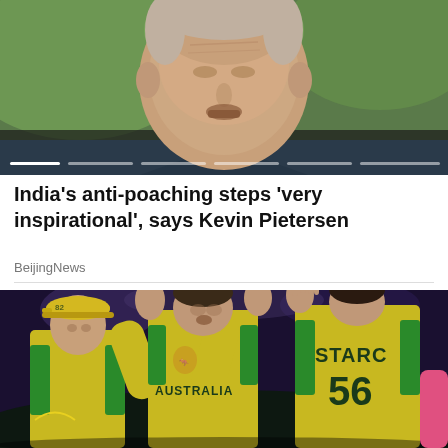[Figure (photo): Close-up photo of a man's face with blurred green background, likely outdoors. Slider/carousel indicator dots at the bottom.]
India's anti-poaching steps 'very inspirational', says Kevin Pietersen
BeijingNews
[Figure (photo): Photo of Australian cricket players in yellow-green uniforms. One player (Starc, number 56) is visible from behind with 'STARC 56' on jersey, another wears 'AUSTRALIA' jersey. Players appear to be high-fiving or celebrating.]